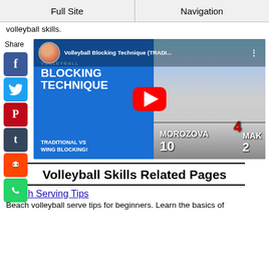Full Site | Navigation
volleyball skills.
[Figure (screenshot): YouTube video thumbnail for 'Volleyball Blocking Technique (TRADI...' showing volleyball players blocking at the net, with Share sidebar containing Facebook, Twitter, Pinterest, Tumblr, Reddit, WhatsApp buttons]
Volleyball Skills Related Pages
Beach Serving Tips
Beach volleyball serve tips for beginners. Learn the basics of